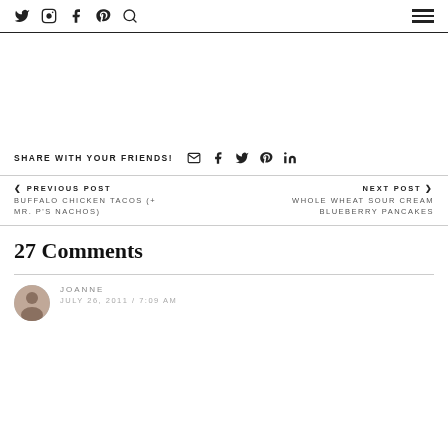Social media icons: Twitter, Instagram, Facebook, Pinterest, Search, Hamburger menu
SHARE WITH YOUR FRIENDS! [email] [facebook] [twitter] [pinterest] [linkedin]
< PREVIOUS POST
BUFFALO CHICKEN TACOS (+ MR. P'S NACHOS)
NEXT POST >
WHOLE WHEAT SOUR CREAM BLUEBERRY PANCAKES
27 Comments
JOANNE
JULY 26, 2011 / 7:09 AM